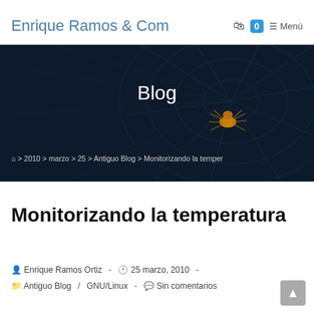Enrique Ramos & Com
[Figure (photo): Dark spider web hero banner with a spider visible on the right side, with 'Blog' title text and breadcrumb navigation overlay]
Monitorizando la temperatura
Enrique Ramos Ortiz - 25 marzo, 2010 - Antiguo Blog / GNU/Linux - Sin comentarios